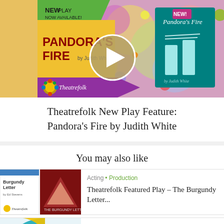[Figure (illustration): Theatrefolk banner advertisement for Pandora's Fire by Judith White. Shows colorful abstract background with green, yellow, purple ribbons. Text: NEW PLAY NOW AVAILABLE! PANDORA'S FIRE by Judith White. Theatrefolk logo on left. Right side: teal square book cover with Pandora's Fire title and NEW! badge.]
Theatrefolk New Play Feature: Pandora's Fire by Judith White
You may also like
[Figure (illustration): Thumbnail images for The Burgundy Letter - white book cover with small text and Theatrefolk logo, plus dark red/maroon book cover with letter A and THE BURGUNDY LETTER text.]
Acting • Production
Theatrefolk Featured Play – The Burgundy Letter...
[Figure (illustration): Thumbnail for Round-Up article showing colorful circular design with text All About Time Management & Scheduling.]
Production
Round-Up: All About Time Management & Scheduling